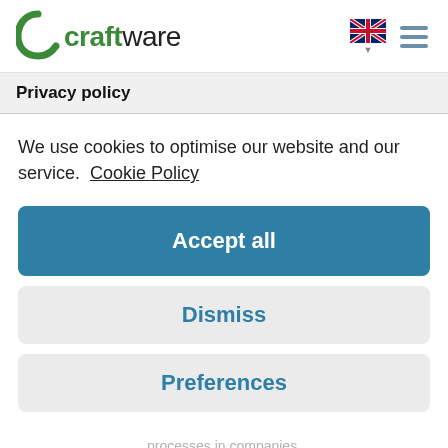[Figure (logo): Craftware logo: green arc icon with 'craftware' text in dark and green colors]
Privacy policy
We use cookies to optimise our website and our service.  Cookie Policy
Accept all
Dismiss
Preferences
processes in companies.